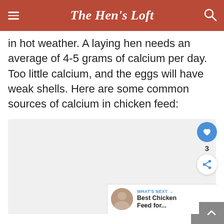The Hen's Loft
in hot weather. A laying hen needs an average of 4-5 grams of calcium per day. Too little calcium, and the eggs will have weak shells. Here are some common sources of calcium in chicken feed:
[Figure (photo): Image placeholder area (content not visible)]